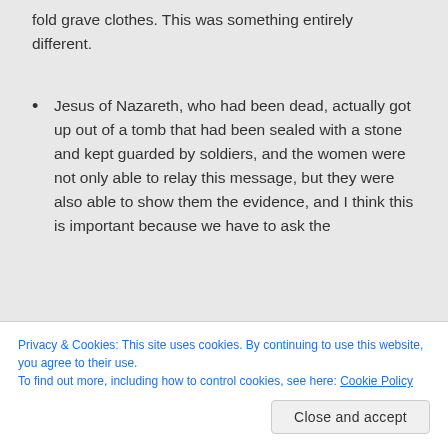fold grave clothes. This was something entirely different.
Jesus of Nazareth, who had been dead, actually got up out of a tomb that had been sealed with a stone and kept guarded by soldiers, and the women were not only able to relay this message, but they were also able to show them the evidence, and I think this is important because we have to ask the
of fact. I think when you consider all the
Privacy & Cookies: This site uses cookies. By continuing to use this website, you agree to their use.
To find out more, including how to control cookies, see here: Cookie Policy